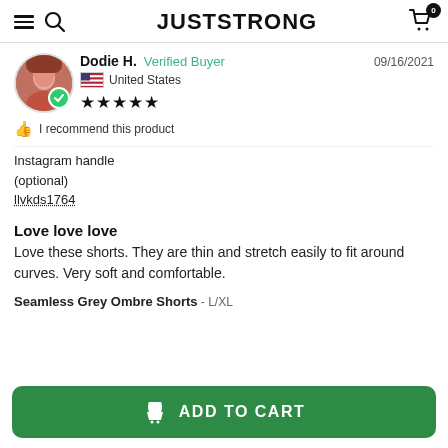JUSTSTRONG
Dodie H. Verified Buyer 09/16/2021 United States ★★★★★
I recommend this product
Instagram handle (optional)
llvkds1764
Love love love
Love these shorts. They are thin and stretch easily to fit around curves. Very soft and comfortable.
Seamless Grey Ombre Shorts - L/XL
ADD TO CART